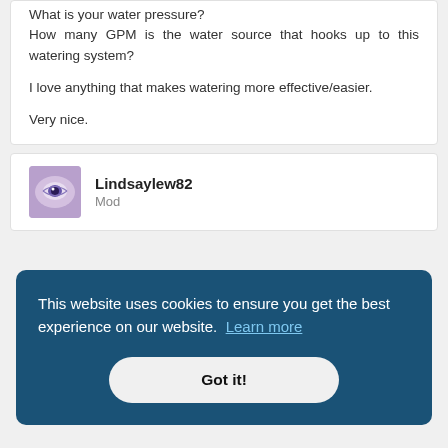What is your water pressure? How many GPM is the water source that hooks up to this watering system?

I love anything that makes watering more effective/easier.

Very nice.
Lindsaylew82
Mod
This website uses cookies to ensure you get the best experience on our website. Learn more
Got it!
t "A"